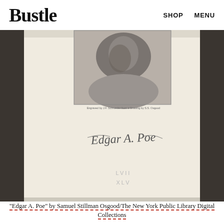Bustle   SHOP   MENU
[Figure (photo): A scanned page from a book showing a portrait photograph of Edgar Allan Poe at the top (black and white, showing his face and shoulders) and his cursive signature 'Edgar A. Poe' in the middle of the cream-colored page, with faint stamped text 'LVII' and 'XLV' near the bottom.]
"Edgar A. Poe" by Samuel Stillman Osgood/The New York Public Library Digital Collections